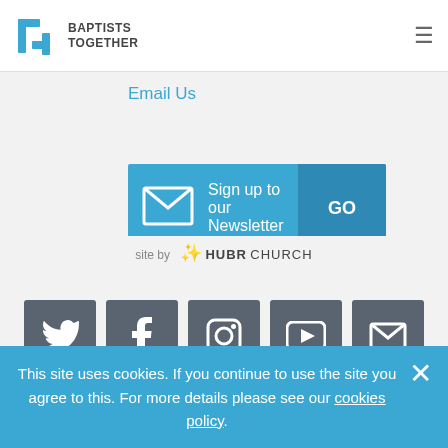Baptists Together
Email Us
[Figure (infographic): Blue newsletter signup bar with envelope icon, text 'Sign up to our Newsletter' and 'GO' button]
[Figure (infographic): Row of five social media icon buttons (Twitter, Facebook, Instagram, YouTube, Email) in dark grey rounded squares]
Login
site by HUBR CHURCH
This site uses cookies. If you continue to use the site you agree to this. For more details please see our cookies policy.